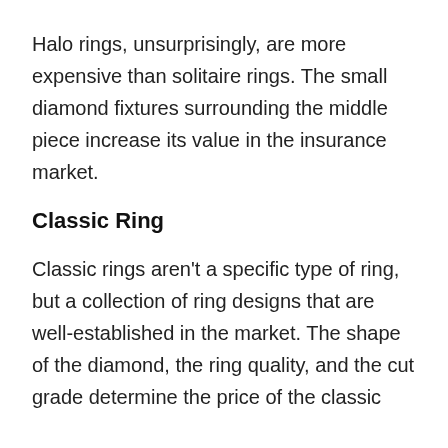Halo rings, unsurprisingly, are more expensive than solitaire rings. The small diamond fixtures surrounding the middle piece increase its value in the insurance market.
Classic Ring
Classic rings aren't a specific type of ring, but a collection of ring designs that are well-established in the market. The shape of the diamond, the ring quality, and the cut grade determine the price of the classic